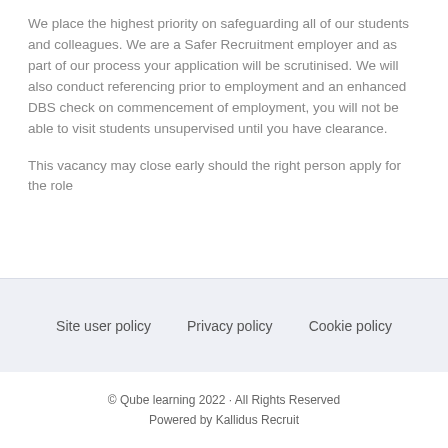We place the highest priority on safeguarding all of our students and colleagues. We are a Safer Recruitment employer and as part of our process your application will be scrutinised. We will also conduct referencing prior to employment and an enhanced DBS check on commencement of employment, you will not be able to visit students unsupervised until you have clearance.
This vacancy may close early should the right person apply for the role
Site user policy   Privacy policy   Cookie policy
© Qube learning 2022 · All Rights Reserved
Powered by Kallidus Recruit